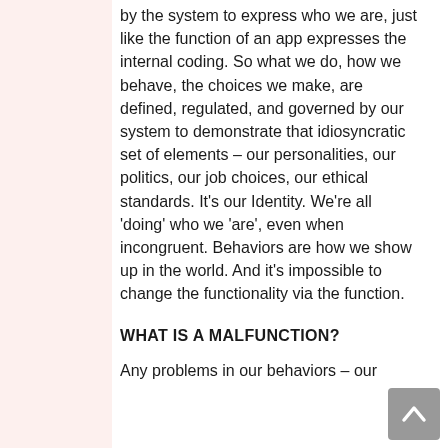by the system to express who we are, just like the function of an app expresses the internal coding. So what we do, how we behave, the choices we make, are defined, regulated, and governed by our system to demonstrate that idiosyncratic set of elements – our personalities, our politics, our job choices, our ethical standards. It's our Identity. We're all 'doing' who we 'are', even when incongruent. Behaviors are how we show up in the world. And it's impossible to change the functionality via the function.
WHAT IS A MALFUNCTION?
Any problems in our behaviors – our